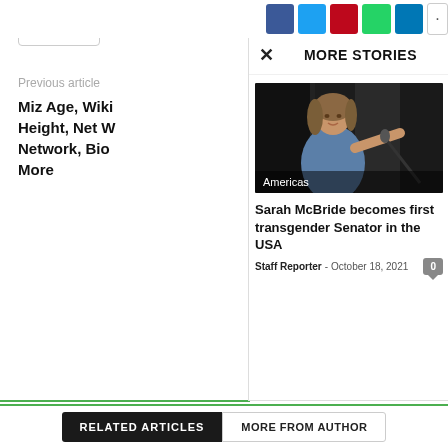[Figure (screenshot): Share button with share icon on left sidebar]
Previous article
Miz Age, Wiki Height, Net W Network, Bio More
[Figure (screenshot): Social share buttons row: Facebook, Twitter, Pinterest, WhatsApp, LinkedIn, more]
MORE STORIES
[Figure (photo): Photo of Sarah McBride speaking at a podium with microphone, wearing a blue sleeveless dress, pointing finger, dark curtain background. Label: Americas]
Sarah McBride becomes first transgender Senator in the USA
Staff Reporter - October 18, 2021
[Figure (screenshot): Comment count badge showing 0]
RELATED ARTICLES
MORE FROM AUTHOR